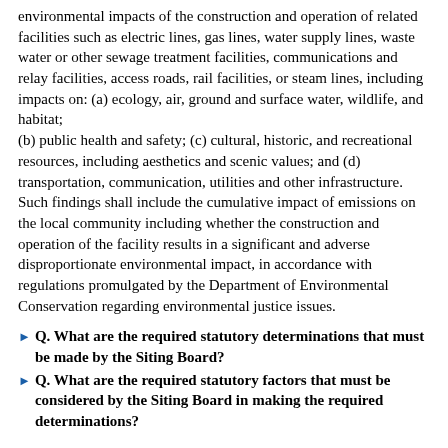environmental impacts of the construction and operation of related facilities such as electric lines, gas lines, water supply lines, waste water or other sewage treatment facilities, communications and relay facilities, access roads, rail facilities, or steam lines, including impacts on: (a) ecology, air, ground and surface water, wildlife, and habitat; (b) public health and safety; (c) cultural, historic, and recreational resources, including aesthetics and scenic values; and (d) transportation, communication, utilities and other infrastructure. Such findings shall include the cumulative impact of emissions on the local community including whether the construction and operation of the facility results in a significant and adverse disproportionate environmental impact, in accordance with regulations promulgated by the Department of Environmental Conservation regarding environmental justice issues.
Q. What are the required statutory determinations that must be made by the Siting Board?
Q. What are the required statutory factors that must be considered by the Siting Board in making the required determinations?
COMPLIANCE AND ENFORCEMENT
Q. Who is in charge of compliance and enforcement matters